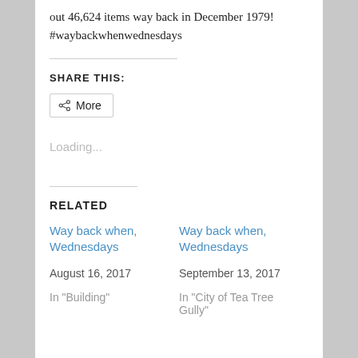out 46,624 items way back in December 1979!
#waybackwhenwednesdays
SHARE THIS:
[Figure (other): Share button with network icon and label 'More']
Loading...
RELATED
Way back when, Wednesdays
August 16, 2017
In "Building"
Way back when, Wednesdays
September 13, 2017
In "City of Tea Tree Gully"